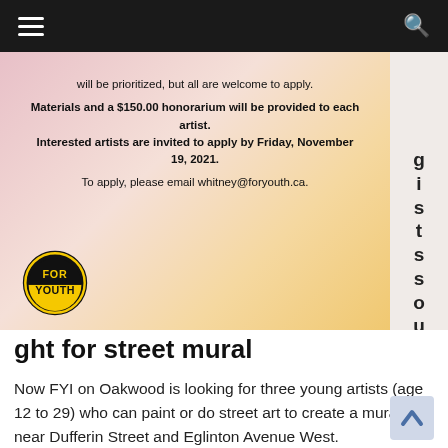Navigation bar with hamburger menu and search icon
[Figure (illustration): A flyer for 'For Youth Initiative' showing paint brush strokes in pink and orange/yellow colors with text about materials, honorarium, and application deadline. Includes the 'For Youth' circular logo in black and yellow.]
ght for street mural
Now FYI on Oakwood is looking for three young artists (age 12 to 29) who can paint or do street art to create a mural near Dufferin Street and Eglinton Avenue West.
FYI is an agency that has established a community space for youth at 504 Oakwood Ave.
Artists are to be chosen based on their connection